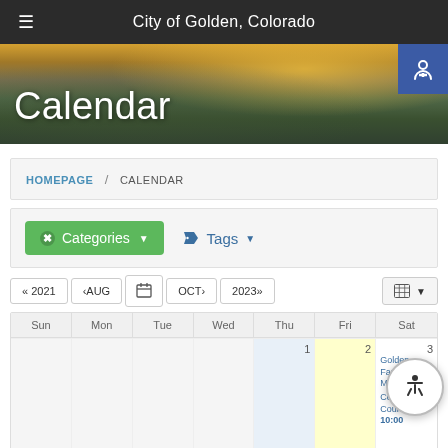City of Golden, Colorado
Calendar
HOMEPAGE / CALENDAR
Categories  Tags
« 2021  ‹AUG  [calendar icon]  OCT›  2023»
| Sun | Mon | Tue | Wed | Thu | Fri | Sat |
| --- | --- | --- | --- | --- | --- | --- |
|  |  |  |  | 1 | 2 | 3 |
|  |  |  |  |  |  | Golden Farmers Market 8:00 | Coffee with Councilors 10:00 |